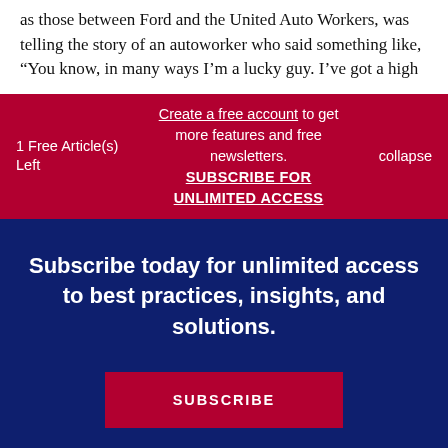as those between Ford and the United Auto Workers, was telling the story of an autoworker who said something like, “You know, in many ways I’m a lucky guy. I’ve got a high
1 Free Article(s) Left
Create a free account to get more features and free newsletters.
SUBSCRIBE FOR UNLIMITED ACCESS
collapse
Subscribe today for unlimited access to best practices, insights, and solutions.
SUBSCRIBE